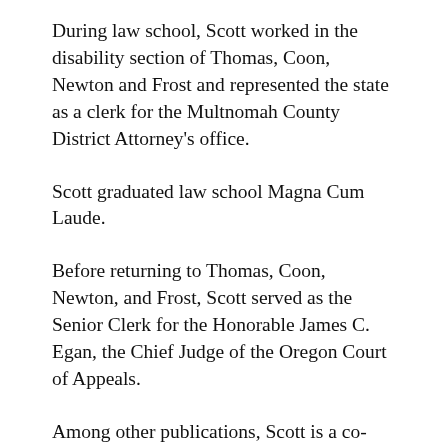During law school, Scott worked in the disability section of Thomas, Coon, Newton and Frost and represented the state as a clerk for the Multnomah County District Attorney's office.
Scott graduated law school Magna Cum Laude.
Before returning to Thomas, Coon, Newton, and Frost, Scott served as the Senior Clerk for the Honorable James C. Egan, the Chief Judge of the Oregon Court of Appeals.
Among other publications, Scott is a co-author of the disability insurance section of the Oregon State Bar treatise, Insurance Law in